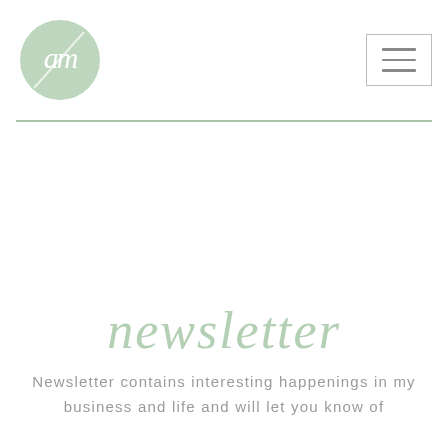[Figure (logo): Circular mint green logo with cursive 'am' monogram and a diagonal line through it]
[Figure (other): Hamburger menu icon — three horizontal lines inside a bordered rectangle]
[Figure (other): Mint green horizontal divider line]
newsletter
Newsletter contains interesting happenings in my business and life and will let you know of